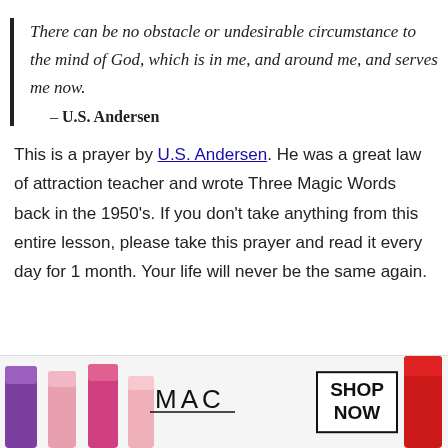There can be no obstacle or undesirable circumstance to the mind of God, which is in me, and around me, and serves me now.
– U.S. Andersen
This is a prayer by U.S. Andersen. He was a great law of attraction teacher and wrote Three Magic Words back in the 1950's. If you don't take anything from this entire lesson, please take this prayer and read it every day for 1 month. Your life will never be the same again.
[Figure (photo): MAC Cosmetics advertisement banner showing colorful lipsticks on the left, MAC logo in the center, and SHOP NOW button on the right. A close button (x) appears in the top right corner.]